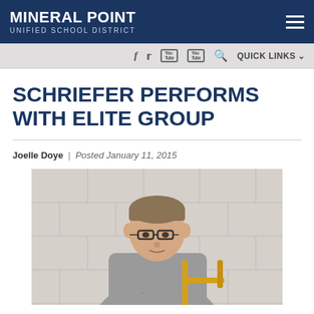MINERAL POINT UNIFIED SCHOOL DISTRICT
SCHRIEFER PERFORMS WITH ELITE GROUP
Joelle Doye | Posted January 11, 2015
[Figure (photo): A young male student wearing glasses and a gray hoodie, holding a brass trombone, standing in front of a tiled wall.]